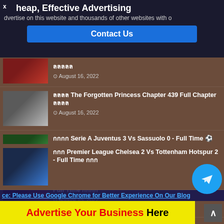[Figure (infographic): Ad banner: cheap effective advertising with Contact Us button]
ลลลล (partial title) - August 16, 2022
ลลลล The Forgotten Princess Chapter 439 Full Chapter ลลลล
August 16, 2022
กกกก Serie A Juventus 3 Vs Sassuolo 0 - Full Time ⚽ กกก
August 15, 2022
กกกกPremierLeague Liverpool 1 Vs Crystal Palace 1 - Full Time กกกก
August 15, 2022
Notice: Please Use Google Chrome for Better Experience On Our Blog
กกก Premier League Chelsea 2 Vs Tottenham Hotspur 2 - Full Time กกก
[Figure (infographic): Advertise Your Business Here - yellow banner ad]